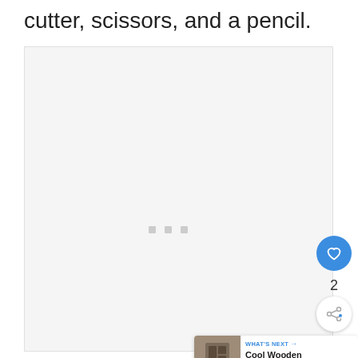cutter, scissors, and a pencil.
[Figure (photo): Large light gray placeholder image box with three small gray square dots in the center, indicating a loading or placeholder image area.]
[Figure (infographic): UI overlay showing a blue heart/like button with count of 2, a share button, and a 'WHAT'S NEXT' card with thumbnail and text 'Cool Wooden Cube Storag...']